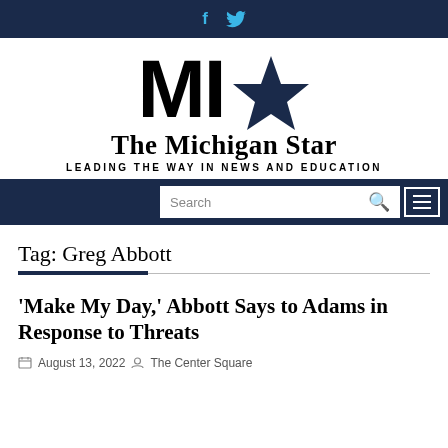f  [twitter icon]
[Figure (logo): The Michigan Star logo: large bold 'MI' text with a navy blue star, followed by 'The Michigan Star' in serif font and tagline 'LEADING THE WAY IN NEWS AND EDUCATION']
Search [menu icon]
Tag: Greg Abbott
'Make My Day,' Abbott Says to Adams in Response to Threats
August 13, 2022   The Center Square